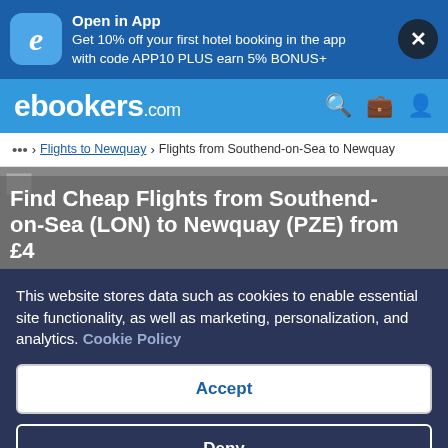[Figure (screenshot): App banner with ebookers icon, promotional text, and close button]
[Figure (logo): ebookers.com navigation bar with logo and icons]
... > Flights to Newquay > Flights from Southend-on-Sea to Newquay
Find Cheap Flights from Southend-on-Sea (LON) to Newquay (PZE) from £...
This website stores data such as cookies to enable essential site functionality, as well as marketing, personalization, and analytics. Cookie Policy
Accept
Deny